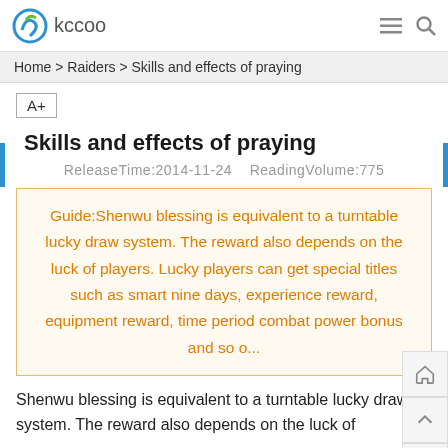kccoo
Home > Raiders > Skills and effects of praying
Skills and effects of praying
ReleaseTime:2014-11-24    ReadingVolume:775
Guide:Shenwu blessing is equivalent to a turntable lucky draw system. The reward also depends on the luck of players. Lucky players can get special titles such as smart nine days, experience reward, equipment reward, time period combat power bonus and so o...
Shenwu blessing is equivalent to a turntable lucky draw system. The reward also depends on the luck of